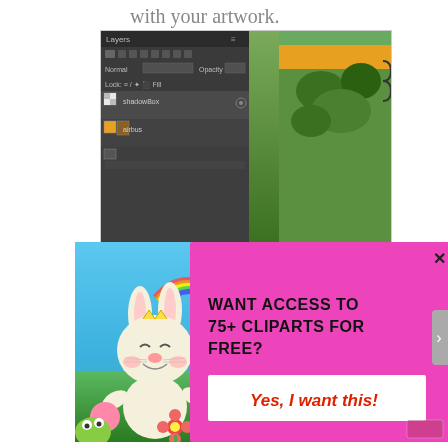with your artwork.
[Figure (screenshot): Photoshop layers panel showing artwork editing with clipart image]
[Figure (illustration): Colorful clipart image with cartoon bunny, unicorn, rainbow, monsters and flowers. Popup overlay showing promotional offer: WANT ACCESS TO 75+ CLIPARTS FOR FREE? with Yes, I want this! button]